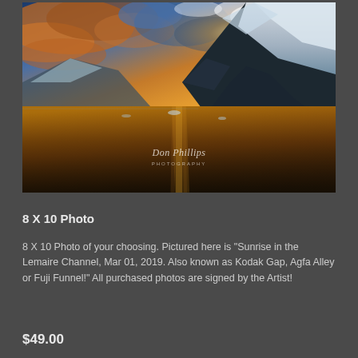[Figure (photo): Landscape photograph of 'Sunrise in the Lemaire Channel, Mar 01, 2019' showing a dramatic sunset/sunrise over calm dark water with snow-covered mountains and colorful clouds. Photographer watermark 'Don Phillips Photography' visible in center-lower area.]
8 X 10 Photo
8 X 10 Photo of your choosing. Pictured here is "Sunrise in the Lemaire Channel, Mar 01, 2019. Also known as Kodak Gap, Agfa Alley or Fuji Funnel!" All purchased photos are signed by the Artist!
$49.00